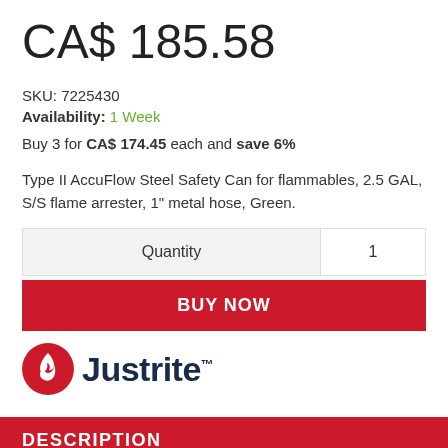CA$ 185.58
SKU: 7225430
Availability: 1 Week
Buy 3 for CA$ 174.45 each and save 6%
Type II AccuFlow Steel Safety Can for flammables, 2.5 GAL, S/S flame arrester, 1" metal hose, Green.
| Quantity |  |
| --- | --- |
| Quantity | 1 |
BUY NOW
[Figure (logo): Justrite brand logo with flame icon and company name in dark navy bold text]
DESCRIPTION